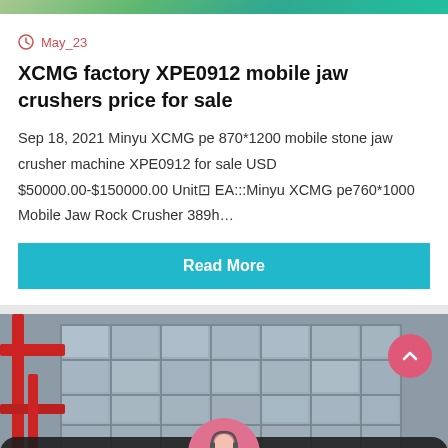[Figure (photo): Top portion of a webpage showing a product listing card with a green/teal decorative top image strip]
May_23
XCMG factory XPE0912 mobile jaw crushers price for sale
Sep 18, 2021 Minyu XCMG pe 870*1200 mobile stone jaw crusher machine XPE0912 for sale USD $50000.00-$150000.00 Unit⊞EA:::Minyu XCMG pe760*1000 Mobile Jaw Rock Crusher 389h…
Read More
[Figure (photo): Factory building exterior in black and white/grey tones with red structural beams on the left side]
Leave Message
Chat Online